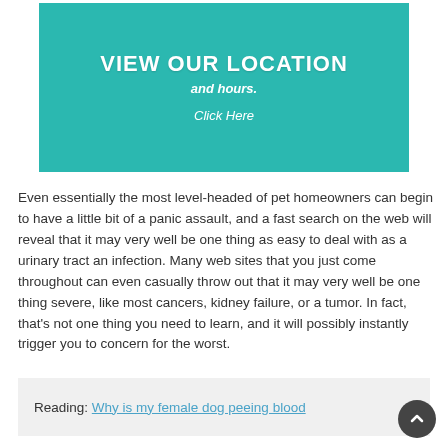[Figure (infographic): Teal banner with white border reading 'VIEW OUR LOCATION and hours. Click Here']
Even essentially the most level-headed of pet homeowners can begin to have a little bit of a panic assault, and a fast search on the web will reveal that it may very well be one thing as easy to deal with as a urinary tract an infection. Many web sites that you just come throughout can even casually throw out that it may very well be one thing severe, like most cancers, kidney failure, or a tumor. In fact, that's not one thing you need to learn, and it will possibly instantly trigger you to concern for the worst.
Reading: Why is my female dog peeing blood